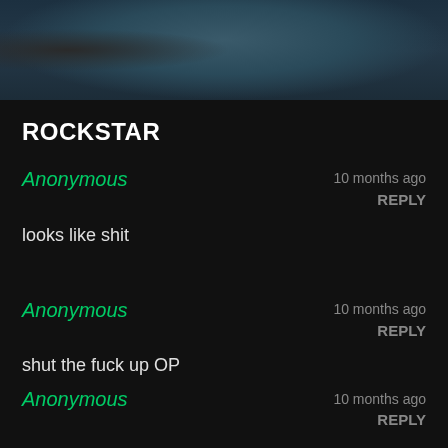[Figure (photo): Top portion of a photo showing what appears to be a car, partially cropped]
ROCKSTAR
Anonymous
10 months ago
REPLY
looks like shit
Anonymous
10 months ago
REPLY
shut the fuck up OP
I would play the hell out of it
it looks fucking great
Anonymous
10 months ago
REPLY